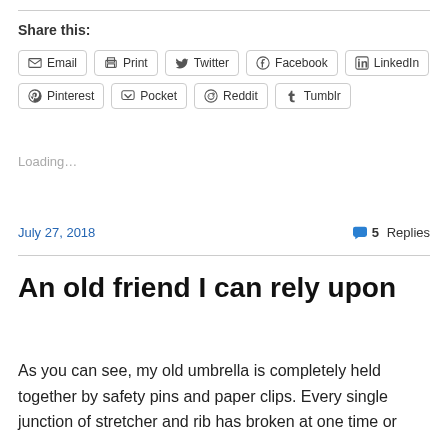Share this:
Email
Print
Twitter
Facebook
LinkedIn
Pinterest
Pocket
Reddit
Tumblr
Loading...
July 27, 2018
5 Replies
An old friend I can rely upon
As you can see, my old umbrella is completely held together by safety pins and paper clips. Every single junction of stretcher and rib has broken at one time or